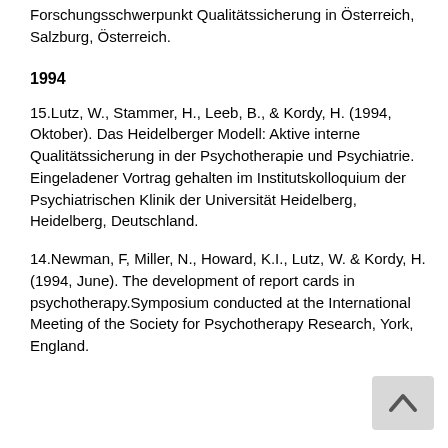Forschungsschwerpunkt Qualitätssicherung in Österreich, Salzburg, Österreich.
1994
15.Lutz, W., Stammer, H., Leeb, B., & Kordy, H. (1994, Oktober). Das Heidelberger Modell: Aktive interne Qualitätssicherung in der Psychotherapie und Psychiatrie. Eingeladener Vortrag gehalten im Institutskolloquium der Psychiatrischen Klinik der Universität Heidelberg, Heidelberg, Deutschland.
14.Newman, F, Miller, N., Howard, K.I., Lutz, W. & Kordy, H. (1994, June). The development of report cards in psychotherapy.Symposium conducted at the International Meeting of the Society for Psychotherapy Research, York, England.